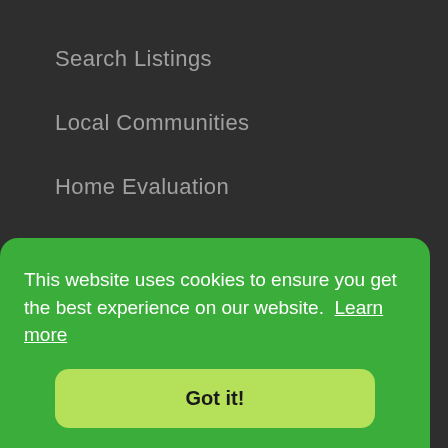Search Listings
Local Communities
Home Evaluation
Info & Services
About Us
This website uses cookies to ensure you get the best experience on our website. Learn more
Got it!